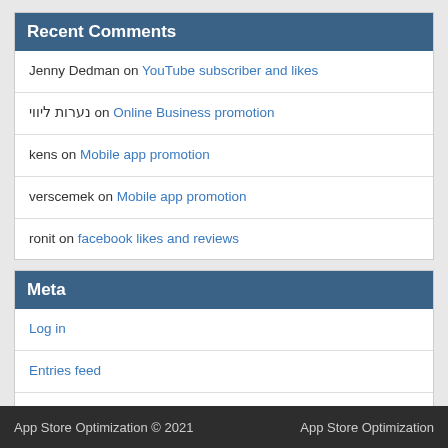Recent Comments
Jenny Dedman on YouTube subscriber and likes
נערות ליווי on Online Business promotion
kens on Mobile app promotion
verscemek on Mobile app promotion
ronit on facebook likes and reviews
Meta
Log in
Entries feed
Comments feed
WordPress.org
App Store Optimization © 2021    App Store Optimization